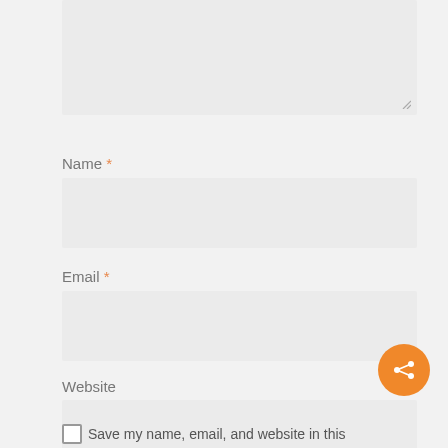[Figure (screenshot): Textarea input stub (top portion visible, partially cut off at top of page)]
Name *
[Figure (screenshot): Name text input field (empty, gray background)]
Email *
[Figure (screenshot): Email text input field (empty, gray background)]
Website
[Figure (screenshot): Website text input field (empty, gray background)]
[Figure (infographic): Orange circular floating action button with white share icon (three dots connected by lines)]
Save my name, email, and website in this